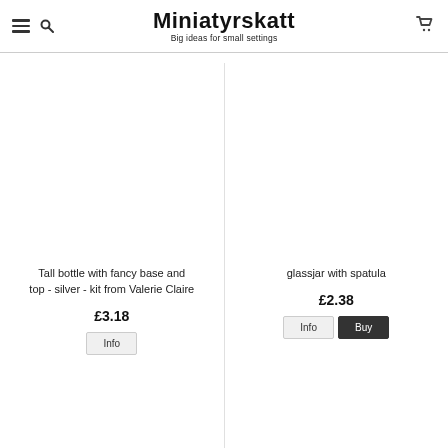Miniatyrskatt — Big ideas for small settings
Tall bottle with fancy base and top - silver - kit from Valerie Claire
£3.18
Info
glassjar with spatula
£2.38
Info
Buy